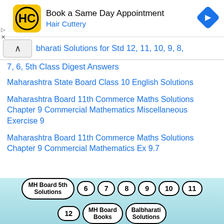[Figure (screenshot): Hair Cuttery advertisement banner with logo, 'Book a Same Day Appointment' heading, and navigation arrow icon]
bharati Solutions for Std 12, 11, 10, 9, 8, 7, 6, 5th Class Digest Answers
Maharashtra State Board Class 10 English Solutions
Maharashtra Board 11th Commerce Maths Solutions Chapter 9 Commercial Mathematics Miscellaneous Exercise 9
Maharashtra Board 11th Commerce Maths Solutions Chapter 9 Commercial Mathematics Ex 9.7
[Figure (screenshot): Navigation pills row: MH Board 5th Solutions, 6, 7, 8, 9, 10, 11, 12, MH Board Books, Balbharati Solutions]